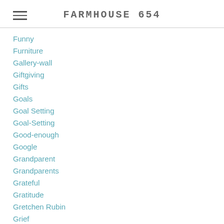FARMHOUSE 654
Funny
Furniture
Gallery-wall
Giftgiving
Gifts
Goals
Goal Setting
Goal-Setting
Good-enough
Google
Grandparent
Grandparents
Grateful
Gratitude
Gretchen Rubin
Grief
Growing Up